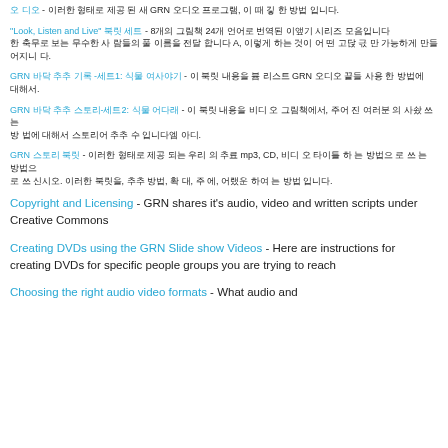[link] - [Korean text] GRN [Korean text]
"Look, Listen and Live" [Korean title] - 8[Korean] 24[Korean text describing booklets]
GRN [Korean text] -[Korean]1: [Korean title] - [Korean text] GRN [Korean text]
GRN [Korean text]-[Korean]2: [Korean title] - [Korean text]
GRN [Korean title] - [Korean text] mp3, CD, [Korean text]
Copyright and Licensing - GRN shares it's audio, video and written scripts under Creative Commons
Creating DVDs using the GRN Slide show Videos - Here are instructions for creating DVDs for specific people groups you are trying to reach
Choosing the right audio video formats - What audio and...